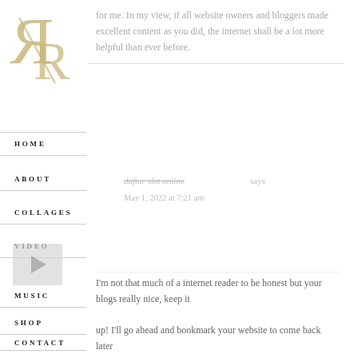[Figure (logo): Decorative letter R logo in gold/tan serif style with a diagonal slash]
for me. In my view, if all website owners and bloggers made excellent content as you did, the internet shall be a lot more helpful than ever before.
HOME
ABOUT
COLLAGES
VIDEO
[Figure (illustration): Small grey video play icon]
MUSIC
SHOP
CONTACT
daftar slot online says
May 1, 2022 at 7:21 am
I'm not that much of a internet reader to be honest but your blogs really nice, keep it up! I'll go ahead and bookmark your website to come back later on. Cheers